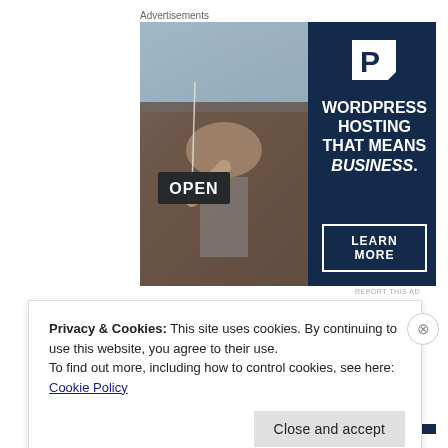Advertisements
[Figure (illustration): WordPress hosting advertisement showing a smiling woman holding an OPEN sign, with a dark navy panel on the right featuring a P logo, the text 'WORDPRESS HOSTING THAT MEANS BUSINESS.' and a 'LEARN MORE' button.]
REPORT THIS AD
Privacy & Cookies: This site uses cookies. By continuing to use this website, you agree to their use.
To find out more, including how to control cookies, see here: Cookie Policy
Close and accept